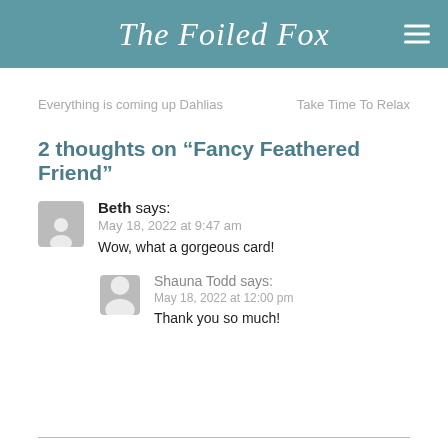The Foiled Fox
Everything is coming up Dahlias
Take Time To Relax
2 thoughts on “Fancy Feathered Friend”
Beth says:
May 18, 2022 at 9:47 am
Wow, what a gorgeous card!
Shauna Todd says:
May 18, 2022 at 12:00 pm
Thank you so much!